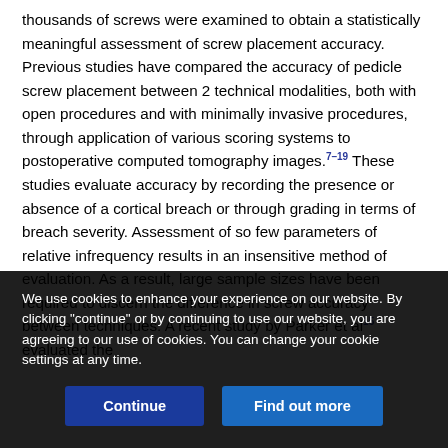thousands of screws were examined to obtain a statistically meaningful assessment of screw placement accuracy. Previous studies have compared the accuracy of pedicle screw placement between 2 technical modalities, both with open procedures and with minimally invasive procedures, through application of various scoring systems to postoperative computed tomography images.7–19 These studies evaluate accuracy by recording the presence or absence of a cortical breach or through grading in terms of breach severity. Assessment of so few parameters of relative infrequency results in an insensitive method of evaluation. As a result, large sample sizes have been required to discern the difference in screw accuracy between techniques. A recent study by Parker et al15 evaluated the
We use cookies to enhance your experience on our website. By clicking "continue" or by continuing to use our website, you are agreeing to our use of cookies. You can change your cookie settings at any time.